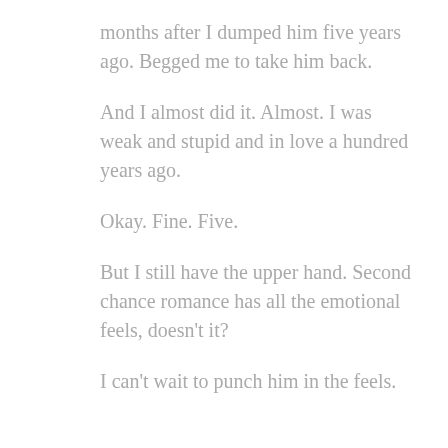months after I dumped him five years ago. Begged me to take him back.
And I almost did it. Almost. I was weak and stupid and in love a hundred years ago.
Okay. Fine. Five.
But I still have the upper hand. Second chance romance has all the emotional feels, doesn't it?
I can't wait to punch him in the feels.